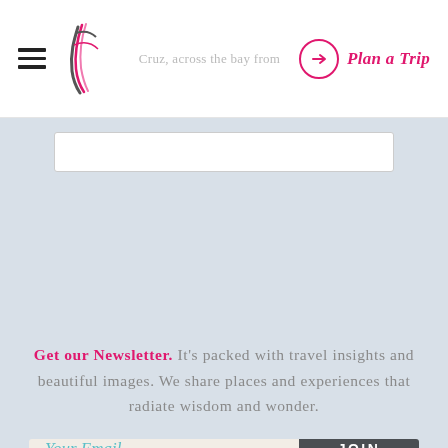Cruz, across the bay from... | Plan a Trip
[Figure (screenshot): Website screenshot showing navigation header with hamburger menu icon, stylized logo with pink and grey feather/flame motif, partially visible search text 'Cruz, across the bay from', and a pink circled arrow 'Plan a Trip' button on the right]
Get our Newsletter. It's packed with travel insights and beautiful images. We share places and experiences that radiate wisdom and wonder.
Your Email | JOIN